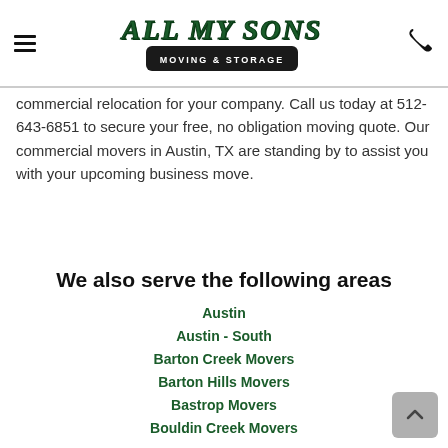All My Sons Moving & Storage — navigation header with hamburger menu and phone icon
commercial relocation for your company. Call us today at 512-643-6851 to secure your free, no obligation moving quote. Our commercial movers in Austin, TX are standing by to assist you with your upcoming business move.
We also serve the following areas
Austin
Austin - South
Barton Creek Movers
Barton Hills Movers
Bastrop Movers
Bouldin Creek Movers